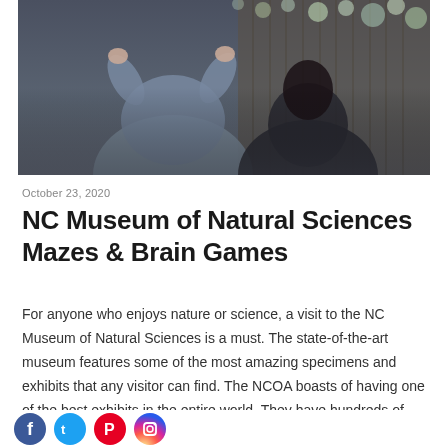[Figure (photo): Two people outdoors, one in a grey puffer jacket with hands raised, another in a dark jacket, with bokeh lights in the background and a wooden fence behind them.]
October 23, 2020
NC Museum of Natural Sciences Mazes & Brain Games
For anyone who enjoys nature or science, a visit to the NC Museum of Natural Sciences is a must. The state-of-the-art museum features some of the most amazing specimens and exhibits that any visitor can find. The NCOA boasts of having one of the best exhibits in the entire world. They have hundreds of artifacts from around the world,